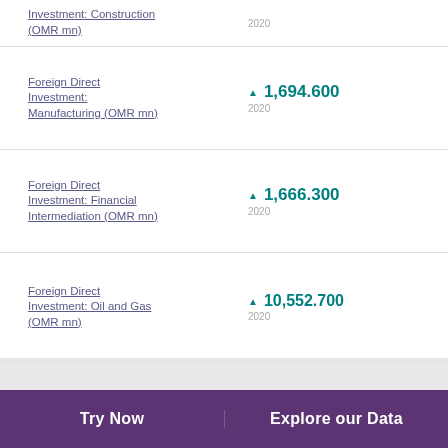Investment: Construction (OMR mn)
Foreign Direct Investment: Manufacturing (OMR mn)
Foreign Direct Investment: Financial Intermediation (OMR mn)
Foreign Direct Investment: Oil and Gas (OMR mn)
Foreign Direct
Try Now   Explore our Data